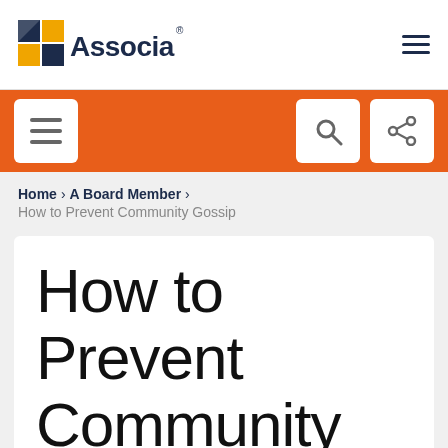[Figure (logo): Associa company logo with square grid icon and text]
Navigation bar with hamburger menu, search, and share icons on orange background
Home > A Board Member > How to Prevent Community Gossip
How to Prevent Community Gossip